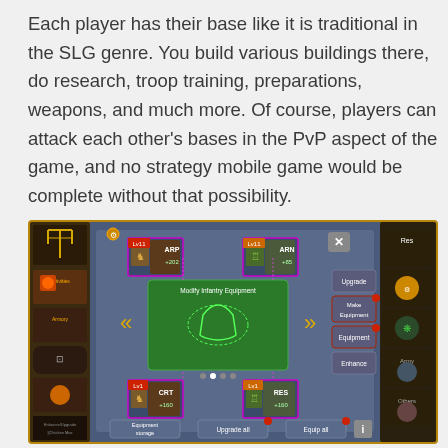Each player has their base like it is traditional in the SLG genre. You build various buildings there, do research, troop training, preparations, weapons, and much more. Of course, players can attack each other's bases in the PvP aspect of the game, and no strategy mobile game would be complete without that possibility.
[Figure (screenshot): In-game screenshot showing a mobile strategy game's equipment modification screen. The interface displays a 'Modify Infantry Equipment' panel with four item slots at corners (Lv11 ARP +202, Lv11 ARN +85, Lv1 CRT +160, Lv1 RES +160), a central green area with a soldier silhouette, navigation arrows, and right-side buttons (Upgrade, Make Equipment, Equipment, Enhance). Bottom buttons: Equipment storage, Upgrade all, Equip all. The game UI has a golden/bronze border frame with various menu icons.]